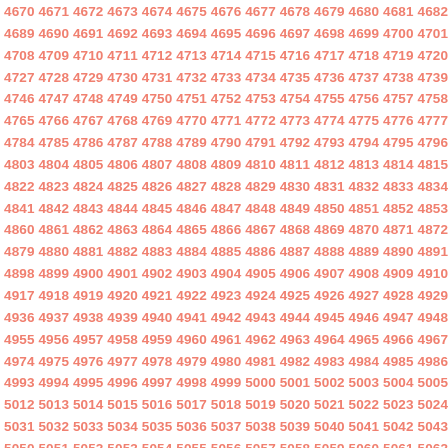4670 4671 4672 4673 4674 4675 4676 4677 4678 4679 4680 4681 4682... 4689 4690 4691 4692 4693 4694 4695 4696 4697 4698 4699 4700 4701... 4708 4709 4710 4711 4712 4713 4714 4715 4716 4717 4718 4719 4720... 4727 4728 4729 4730 4731 4732 4733 4734 4735 4736 4737 4738 4739... 4746 4747 4748 4749 4750 4751 4752 4753 4754 4755 4756 4757 4758... 4765 4766 4767 4768 4769 4770 4771 4772 4773 4774 4775 4776 4777... 4784 4785 4786 4787 4788 4789 4790 4791 4792 4793 4794 4795 4796... 4803 4804 4805 4806 4807 4808 4809 4810 4811 4812 4813 4814 4815... 4822 4823 4824 4825 4826 4827 4828 4829 4830 4831 4832 4833 4834... 4841 4842 4843 4844 4845 4846 4847 4848 4849 4850 4851 4852 4853... 4860 4861 4862 4863 4864 4865 4866 4867 4868 4869 4870 4871 4872... 4879 4880 4881 4882 4883 4884 4885 4886 4887 4888 4889 4890 4891... 4898 4899 4900 4901 4902 4903 4904 4905 4906 4907 4908 4909 4910... 4917 4918 4919 4920 4921 4922 4923 4924 4925 4926 4927 4928 4929... 4936 4937 4938 4939 4940 4941 4942 4943 4944 4945 4946 4947 4948... 4955 4956 4957 4958 4959 4960 4961 4962 4963 4964 4965 4966 4967... 4974 4975 4976 4977 4978 4979 4980 4981 4982 4983 4984 4985 4986... 4993 4994 4995 4996 4997 4998 4999 5000 5001 5002 5003 5004 5005... 5012 5013 5014 5015 5016 5017 5018 5019 5020 5021 5022 5023 5024... 5031 5032 5033 5034 5035 5036 5037 5038 5039 5040 5041 5042 5043... 5050 5051 5052 5053 5054 5055 5056 5057 5058 5059 5060 5061 5062...